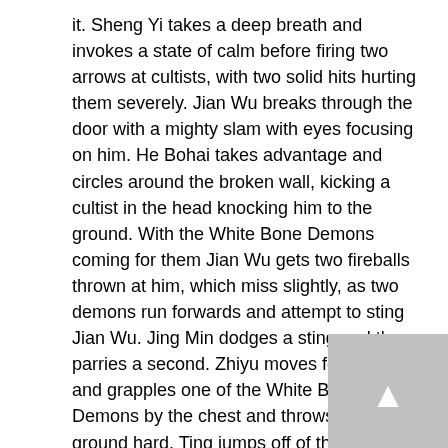it. Sheng Yi takes a deep breath and invokes a state of calm before firing two arrows at cultists, with two solid hits hurting them severely. Jian Wu breaks through the door with a mighty slam with eyes focusing on him. He Bohai takes advantage and circles around the broken wall, kicking a cultist in the head knocking him to the ground. With the White Bone Demons coming for them Jian Wu gets two fireballs thrown at him, which miss slightly, as two demons run forwards and attempt to sting Jian Wu. Jing Min dodges a sting and then parries a second. Zhiyu moves forwards and grapples one of the White Bone Demons by the chest and throws it to the ground hard. Ting jumps off of the table he's standing on, off of a spit over a fireplace, and slams into a demon dealing a large amount of damage to each other before Ting sweeps his leg, crippling it. Nongmin moves in from behind of Ting and Jian Wu and strikes at the crippled demon with his telekinesis but can't easily focus, dealing a small amount of damage.
Jing Min strikes three more times, with the demon missing each blow. Ren decapitates the demon he'd already crippled, destroying it. Sheng Yi takes another deep breath and fires twice at a Bone Demon's eye sockets to little to no effect. Jian Wu